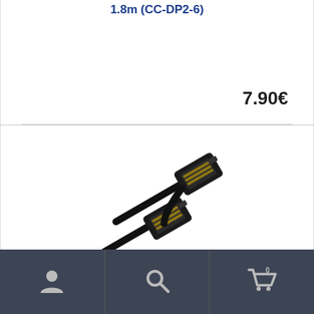1.8m (CC-DP2-6)
7.90€
[Figure (photo): Two black DisplayPort male to DisplayPort male cable connectors shown end-on, one above the other, against a white background.]
Powertech Cable DisplayPort male – DisplayPort male 3m
Navigation bar with user, search, and cart icons